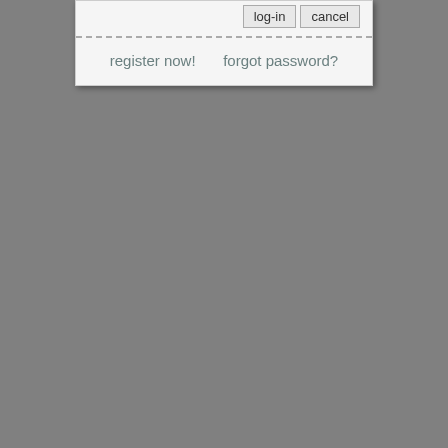[Figure (screenshot): Bottom portion of a login dialog box showing log-in and cancel buttons, a dashed divider, and links for register now! and forgot password?]